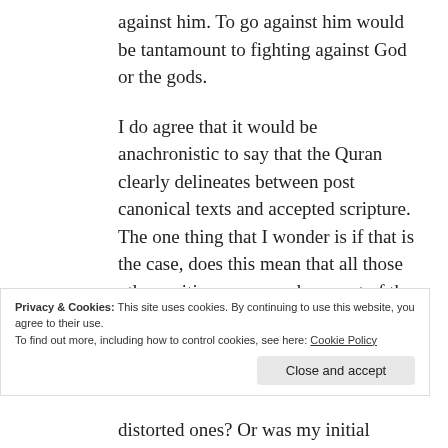against him. To go against him would be tantamount to fighting against God or the gods.
I do agree that it would be anachronistic to say that the Quran clearly delineates between post canonical texts and accepted scripture. The one thing that I wonder is if that is the case, does this mean that all those other writings are somehow part of the Taurat and the Injil from a Quranic viewpoint, even if their reception among the people of the book
Privacy & Cookies: This site uses cookies. By continuing to use this website, you agree to their use.
To find out more, including how to control cookies, see here: Cookie Policy
distorted ones? Or was my initial